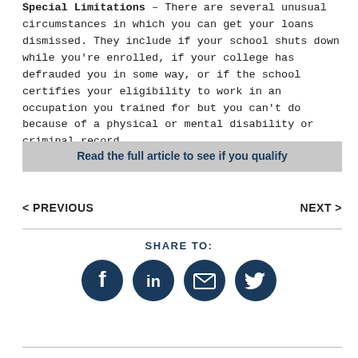Special Limitations – There are several unusual circumstances in which you can get your loans dismissed. They include if your school shuts down while you're enrolled, if your college has defrauded you in some way, or if the school certifies your eligibility to work in an occupation you trained for but you can't do because of a physical or mental disability or criminal record.
Read the full article to see if you qualify
< PREVIOUS
NEXT >
SHARE TO:
[Figure (infographic): Four circular social media share buttons for Facebook, LinkedIn, Email, and Twitter, all in dark navy blue.]